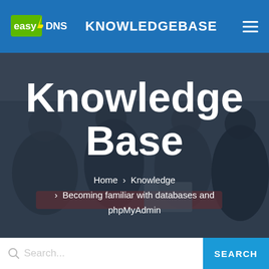easyDNS KNOWLEDGEBASE
Knowledge Base
Home > Knowledge > Becoming familiar with databases and phpMyAdmin
[Figure (photo): Three people sitting around a table with a laptop and papers, appearing to discuss or collaborate in an office setting. Image has a dark blue overlay.]